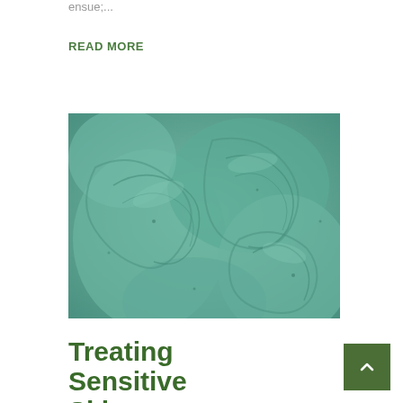ensue;...
READ MORE
[Figure (photo): Close-up photograph of green/teal-tinted cream or clay cosmetic product showing swirled texture patterns]
Treating Sensitive Skin